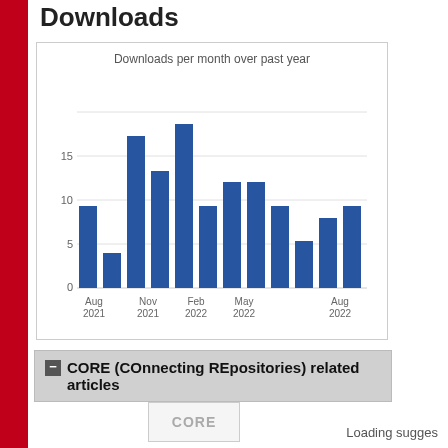Downloads
[Figure (bar-chart): Downloads per month over past year]
CORE (COnnecting REpositories) related articles
CORE
Loading sugges